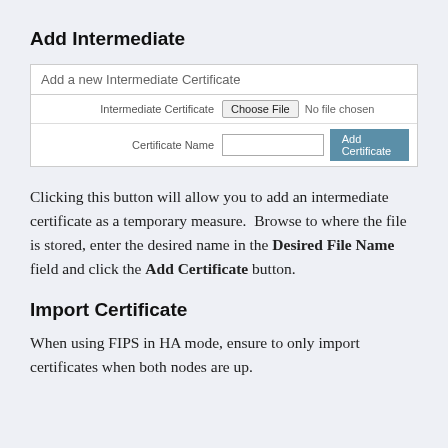Add Intermediate
[Figure (screenshot): Web form UI showing 'Add a new Intermediate Certificate' with fields for Intermediate Certificate (Choose File / No file chosen) and Certificate Name (text input with Add Certificate button)]
Clicking this button will allow you to add an intermediate certificate as a temporary measure.  Browse to where the file is stored, enter the desired name in the Desired File Name field and click the Add Certificate button.
Import Certificate
When using FIPS in HA mode, ensure to only import certificates when both nodes are up.